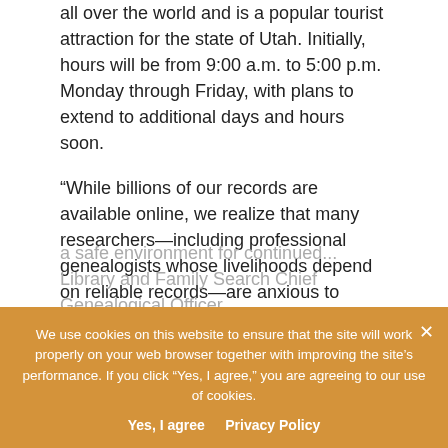all over the world and is a popular tourist attraction for the state of Utah. Initially, hours will be from 9:00 a.m. to 5:00 p.m. Monday through Friday, with plans to extend to additional days and hours soon.
“While billions of our records are available online, we realize that many researchers—including professional genealogists whose livelihoods depend on reliable records—are anxious to access records in-person within the library. We know the extended closing has created difficulties, and we are excited to welcome our guests back into a safe environment for continued...
Library and Family Search Chief Genealogical Officer.
We use cookies on this website to ensure that the site will work properly on your web browser together with improving the site’s performance. If you click “Yes, I agree,” you are agreeing to our use of cookies.